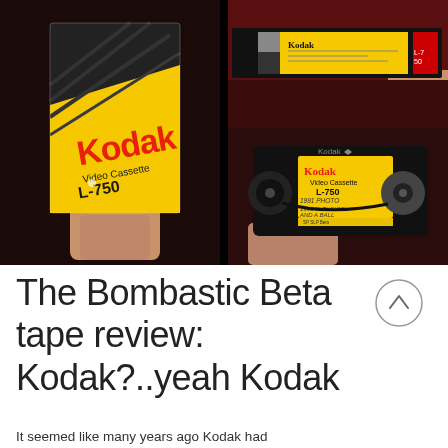[Figure (photo): Composite of three photos showing a Kodak Video Cassette L-750 Betamax tape: left photo shows front of yellow-and-black Kodak VHS/Beta box being held; top-right shows close-up of the tape label strip; bottom-right shows the open cassette with reels visible and a handwritten yellow label.]
The Bombastic Beta tape review: Kodak?..yeah Kodak
It seemed like many years ago Kodak had